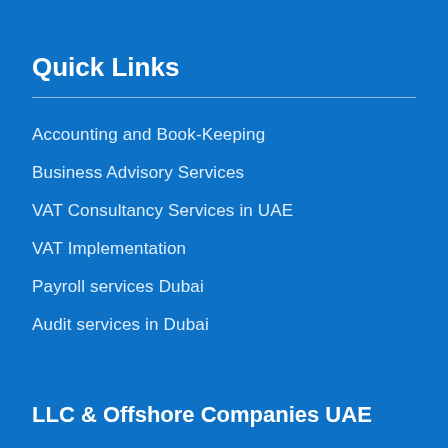Quick Links
Accounting and Book-Keeping
Business Advisory Services
VAT Consultancy Services in UAE
VAT Implementation
Payroll services Dubai
Audit services in Dubai
LLC & Offshore Companies UAE